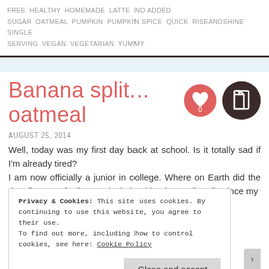FREE HEALTHY HOMEMADE LATTE NO ADDED SUGAR OATMEAL PUMPKIN PUMPKIN SPICE QUICK RISEANDSHINE SINGLE SERVING VEGAN VEGETARIAN YUMMY
[Figure (other): Coral/red heart icon with 0 inside on circular background, and a dark brown circular document/copy icon]
Banana split... oatmeal
AUGUST 25, 2014
Well, today was my first day back at school. Is it totally sad if I'm already tired?
I am now officially a junior in college. Where on Earth did the time fly? I am feeling particularly old today..well really since my
Privacy & Cookies: This site uses cookies. By continuing to use this website, you agree to their use.
To find out more, including how to control cookies, see here: Cookie Policy
Close and accept
same page is easy. And free.